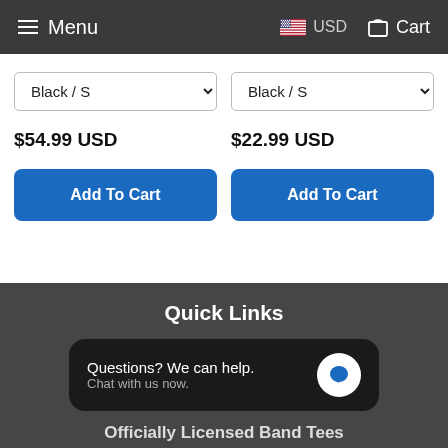Menu  USD  Cart
Black / S
$54.99 USD
Add To Cart
Black / S
$22.99 USD
Add To Cart
Quick Links
Questions? We can help.
Chat with us now.
Officially Licensed Band Tees